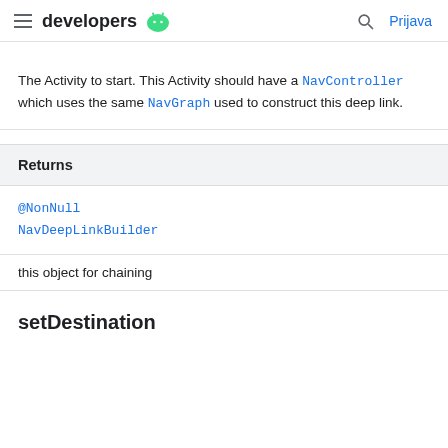developers  Prijava
The Activity to start. This Activity should have a NavController which uses the same NavGraph used to construct this deep link.
| Returns |
| --- |
| @NonNull
NavDeepLinkBuilder | this object for chaining |
setDestination